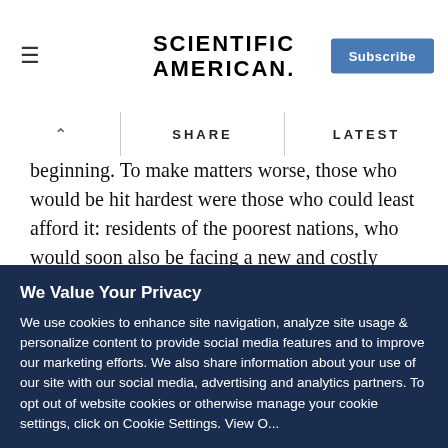SCIENTIFIC AMERICAN
beginning. To make matters worse, those who would be hit hardest were those who could least afford it: residents of the poorest nations, who would soon also be facing a new and costly killer—HIV.
Today more than half a century after the debut of the first anti-TB drugs, the World Health Organization estimates that fully a third of the world's population (more than two billion people)
We Value Your Privacy
We use cookies to enhance site navigation, analyze site usage & personalize content to provide social media features and to improve our marketing efforts. We also share information about your use of our site with our social media, advertising and analytics partners. To opt out of website cookies or otherwise manage your cookie settings, click on Cookie Settings. View O...